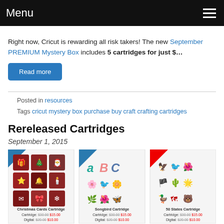Menu
Right now, Cricut is rewarding all risk takers! The new September PREMIUM Mystery Box includes 5 cartridges for just $…
Read more
Posted in resources
Tags cricut mystery box purchase buy craft crafting cartridges
Rereleased Cartridges
September 1, 2015
[Figure (photo): Three Cricut cartridge product images: Christmas Cards Cartridge, Songbird Cartridge, 50 States Cartridge, each showing icon grids and pricing with sale prices.]